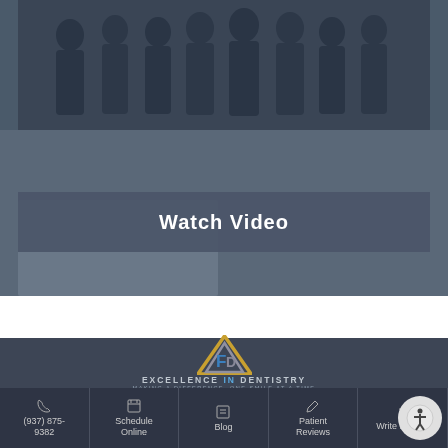[Figure (photo): Group photo of dental office staff standing together in dark uniforms against an office background]
Watch Video
[Figure (logo): Excellence in Dentistry logo — a triangular geometric shape in gold and gray with a blue F/D letter mark inside, with text EXCELLENCE IN DENTISTRY and tagline MAKING A DIFFERENCE, ONE SMILE AT A TIME]
(937) 875-9382 | Schedule Online | Blog | Patient Reviews | Write Review